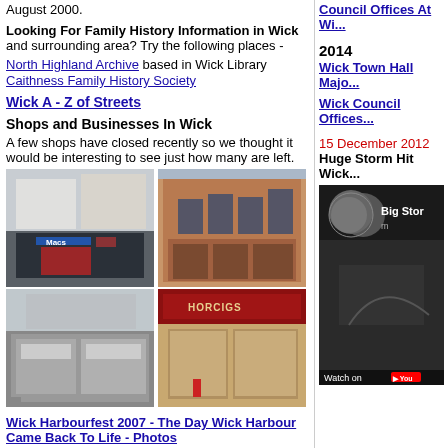August 2000.
Looking For Family History Information in Wick and surrounding area? Try the following places -
North Highland Archive based in Wick Library
Caithness Family History Society
Wick A - Z of Streets
Shops and Businesses In Wick
A few shops have closed recently so we thought it would be interesting to see just how many are left.
[Figure (photo): Photo of shops including Macs store on a street in Wick]
[Figure (photo): Photo of red brick multi-storey shop buildings on a street in Wick]
[Figure (photo): Photo of a large corner shop building in Wick]
[Figure (photo): Photo of Horcigs shop front with red signage in Wick]
Wick Harbourfest 2007 - The Day Wick Harbour Came Back To Life - Photos
Council Offices At Wi...
2014
Wick Town Hall Majo...
Wick Council Offices...
15 December 2012
Huge Storm Hit Wick...
[Figure (screenshot): YouTube video thumbnail showing Big Storm footage with watch on YouTube bar at bottom]